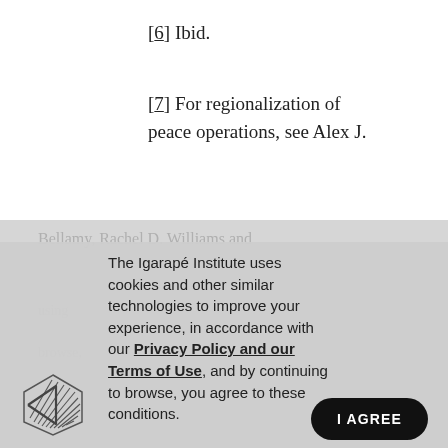[6] Ibid.
[7] For regionalization of peace operations, see Alex J.
The Igarapé Institute uses cookies and other similar technologies to improve your experience, in accordance with our Privacy Policy and our Terms of Use, and by continuing to browse, you agree to these conditions.
[Figure (logo): Igarapé Institute logo — a stylized leaf/feather shape made of diagonal hatching lines inside a pentagon/shield outline]
I AGREE